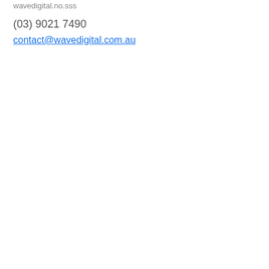wavedigital.no.sss
(03) 9021 7490
contact@wavedigital.com.au